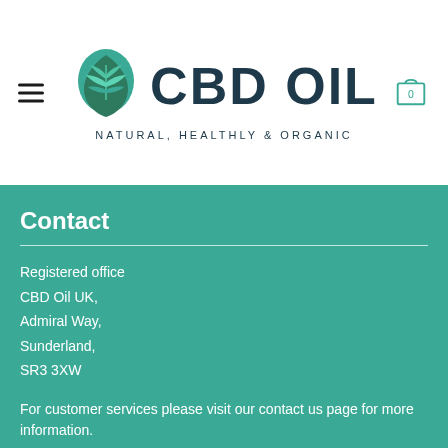[Figure (logo): CBD Oil logo with cannabis leaf icon and tagline NATURAL, HEALTHLY & ORGANIC]
Contact
Registered office
CBD Oil UK,
Admiral Way,
Sunderland,
SR3 3XW
For customer services please visit our contact us page for more information.